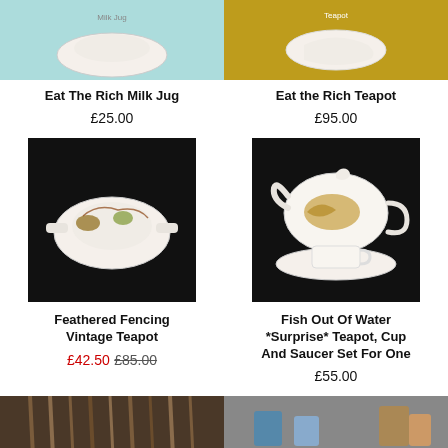[Figure (photo): Top-cropped photo of Eat The Rich Milk Jug on colorful background]
[Figure (photo): Top-cropped photo of Eat the Rich Teapot on yellow background]
Eat The Rich Milk Jug
£25.00
Eat the Rich Teapot
£95.00
[Figure (photo): Feathered Fencing Vintage Teapot on black background, top-down view]
[Figure (photo): Fish Out Of Water teapot, cup and saucer set for one on black background]
Feathered Fencing Vintage Teapot
£42.50  £85.00
Fish Out Of Water *Surprise* Teapot, Cup And Saucer Set For One
£55.00
[Figure (photo): Bottom-cropped photo of decorated teapot with sticks in background]
[Figure (photo): Bottom-cropped photo of teapot with colorful polka dot design]